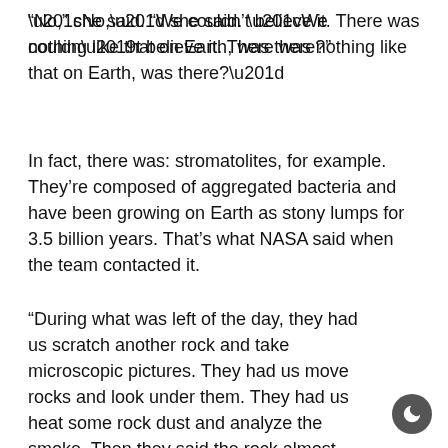“No,” she said. “We couldn’t believe it. There was nothing like that on Earth, was there?”
In fact, there was: stromatolites, for example. They’re composed of aggregated bacteria and have been growing on Earth as stony lumps for 3.5 billion years. That’s what NASA said when the team contacted it.
“During what was left of the day, they had us scratch another rock and take microscopic pictures. They had us move rocks and look under them. They had us heat some rock dust and analyze the smoke. Then they said the rock almost certainly harbored life.”